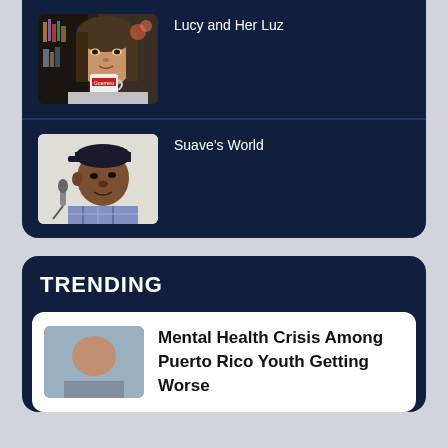[Figure (photo): Woman holding a mug (Guerrero brand), dark hair, bookshelf in background]
Lucy and Her Luz
[Figure (photo): Man wearing a baseball cap speaking into a microphone, plaid shirt]
Suave's World
TRENDING
[Figure (photo): Thumbnail image for trending article]
Mental Health Crisis Among Puerto Rico Youth Getting Worse